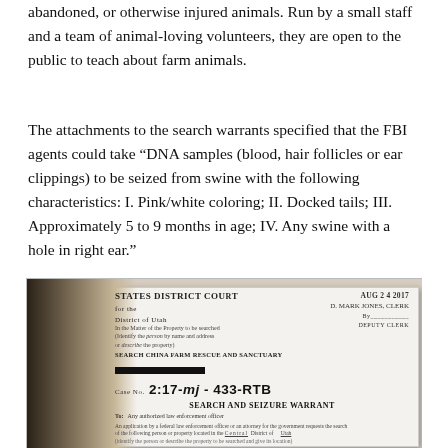abandoned, or otherwise injured animals. Run by a small staff and a team of animal-loving volunteers, they are open to the public to teach about farm animals.
The attachments to the search warrants specified that the FBI agents could take “DNA samples (blood, hair follicles or ear clippings) to be seized from swine with the following characteristics: I. Pink/white coloring; II. Docked tails; III. Approximately 5 to 9 months in age; IV. Any swine with a hole in right ear.”
[Figure (photo): Photo of a Search and Seizure Warrant document from the United States District Court for the District of Utah, showing Case No. 2:17-mj-433-RTB, filed AUG 24 2017, D. Mark Jones Clerk, Deputy Clerk. The warrant is for Search China Farm Rescue and Sanctuary with a redacted address block. Partially overlaid by a dark shadow on the left side.]